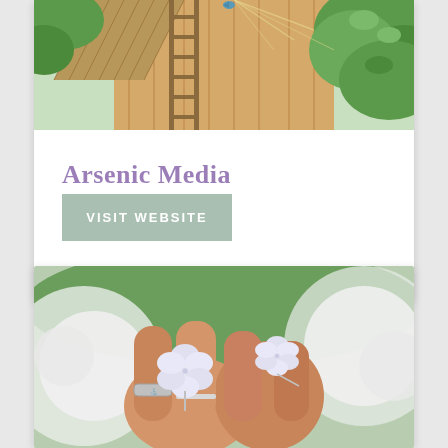[Figure (illustration): Watercolor illustration of a treehouse or wooden structure with a ladder, surrounded by green foliage and trees. A bird sits near the top.]
Arsenic Media
VISIT WEBSITE
[Figure (photo): Close-up photograph of two hands wearing silver flower-shaped rings (hydrangea style) alongside a plain silver band ring, with white hydrangea flowers in the background.]